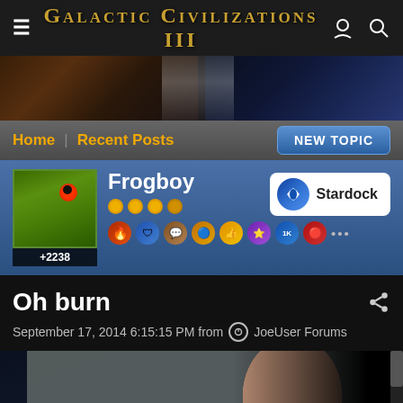Galactic Civilizations III
[Figure (screenshot): Website banner for Galactic Civilizations III with space/galaxy imagery]
Home | Recent Posts
NEW TOPIC
[Figure (photo): Frogboy user avatar showing a frog on a leaf]
Frogboy
+2238
[Figure (logo): Stardock company logo badge]
Oh burn
September 17, 2014 6:15:15 PM from JoeUser Forums
[Figure (screenshot): In-game character from Galactic Civilizations III — a human male in a grey sci-fi military uniform, standing in a spaceship cockpit environment]